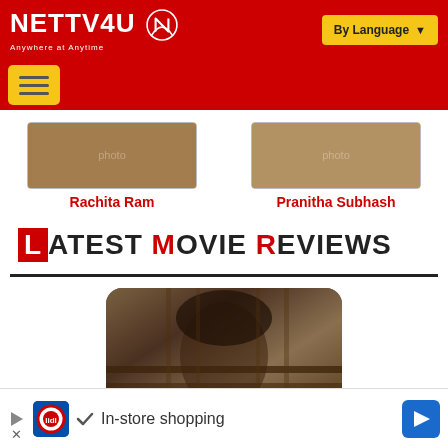NETTV4U — Anywhere at Anytime | By Language
[Figure (screenshot): Actor thumbnail image for Rachita Ram]
Rachita Ram
[Figure (screenshot): Actor thumbnail image for Pranitha Subhash]
Pranitha Subhash
Latest Movie Reviews
[Figure (photo): Movie review thumbnail — person with long hair behind bars/rods]
In-store shopping